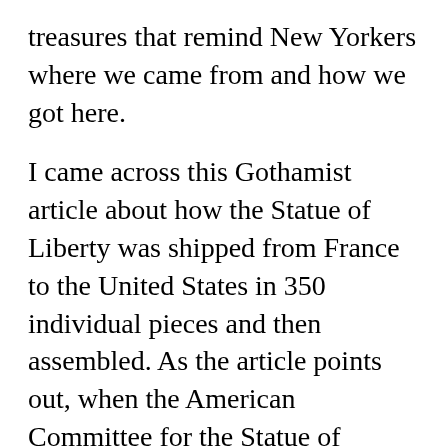treasures that remind New Yorkers where we came from and how we got here.
I came across this Gothamist article about how the Statue of Liberty was shipped from France to the United States in 350 individual pieces and then assembled. As the article points out, when the American Committee for the Statue of Liberty ran out of the money needed for construction in 1876, the arm and torch were put on display in Madison Square Park and newspapers ran a series of articles urging people to donate (an early version of crowdfunding!).
When we take the time to research our